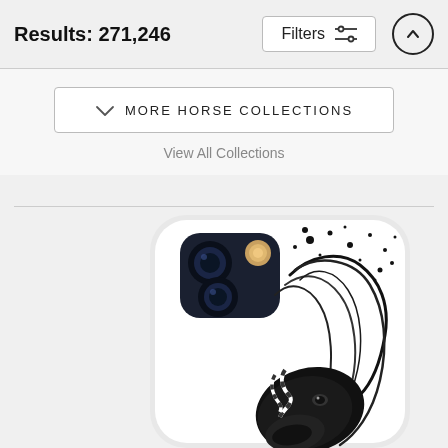Results: 271,246
Filters
MORE HORSE COLLECTIONS
View All Collections
[Figure (photo): A phone case featuring an artistic illustration of a black horse with flowing mane and feather braids, with ink splatter details on a white background. The case is shown on a dark-colored smartphone.]